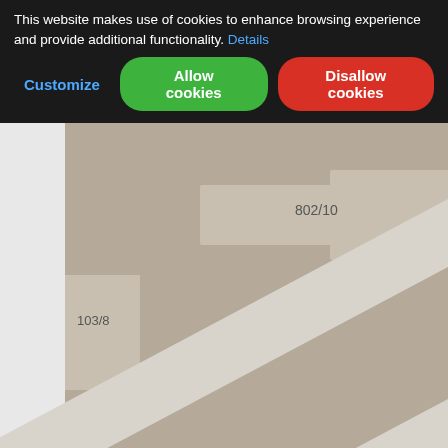[Figure (screenshot): A cadastral/property map showing land parcels labeled with numbers (802/10, 103/8, 645, 646, 647, 648, 639, 638, 637, etc.) and a diagonal street labeled 'V Žabokřiku' with directional arrows. A small blue and red marker icon is visible in the center of the map.]
This website makes use of cookies to enhance browsing experience and provide additional functionality. Details
Customize
Allow cookies
Disallow cookies